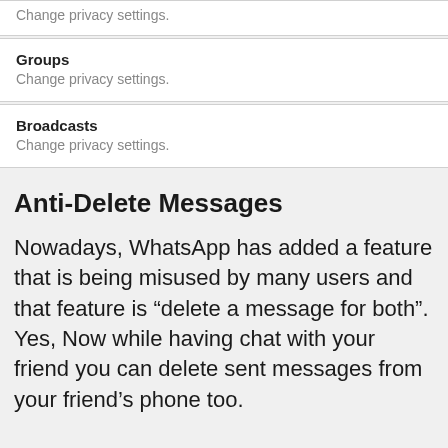Change privacy settings.
Groups
Change privacy settings.
Broadcasts
Change privacy settings.
Anti-Delete Messages
Nowadays, WhatsApp has added a feature that is being misused by many users and that feature is “delete a message for both”. Yes, Now while having chat with your friend you can delete sent messages from your friend’s phone too.